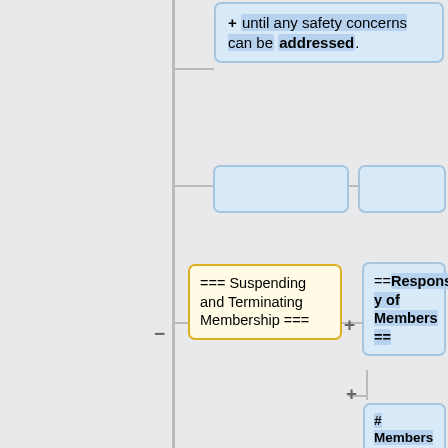[Figure (flowchart): Mind-map / flowchart diagram showing wiki-style nodes connected by lines. Top-right node: '+ until any safety concerns can be addressed.' Two empty placeholder nodes. Left node with minus: '=== Suspending and Terminating Membership ==='. Right node with plus: '==Responsibility of Members =='. Bottom-right large node with plus: '# Members must act in a safe and responsible fashion at all times. + Egregious acts that endanger yourself or others may be grounds for termination of membership.']